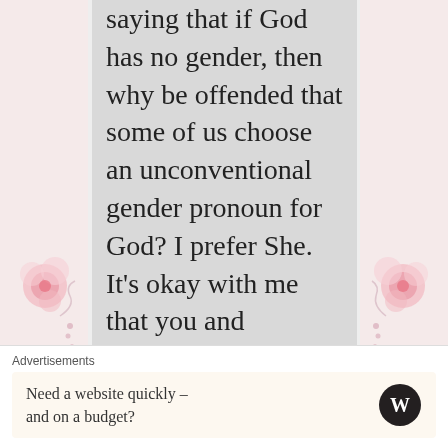[Figure (illustration): Pink floral decorative border on left side of page]
[Figure (illustration): Pink floral decorative border on right side of page]
saying that if God has no gender, then why be offended that some of us choose an unconventional gender pronoun for God? I prefer She. It’s okay with me that you and historically everyone else prefer
Advertisements
Need a website quickly – and on a budget?